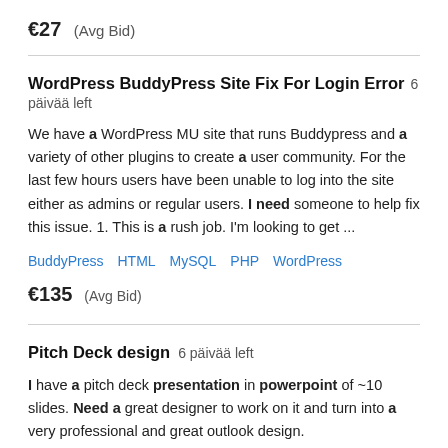€27  (Avg Bid)
WordPress BuddyPress Site Fix For Login Error  6 päivää left
We have a WordPress MU site that runs Buddypress and a variety of other plugins to create a user community. For the last few hours users have been unable to log into the site either as admins or regular users. I need someone to help fix this issue. 1. This is a rush job. I'm looking to get ...
BuddyPress   HTML   MySQL   PHP   WordPress
€135  (Avg Bid)
Pitch Deck design  6 päivää left
I have a pitch deck presentation in powerpoint of ~10 slides. Need a great designer to work on it and turn into a very professional and great outlook design.